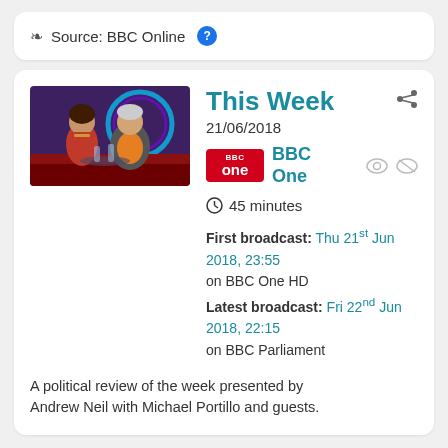Source: BBC Online ?
This Week
21/06/2018
BBC One
45 minutes
First broadcast: Thu 21st Jun 2018, 23:55 on BBC One HD
Latest broadcast: Fri 22nd Jun 2018, 22:15 on BBC Parliament
A political review of the week presented by Andrew Neil with Michael Portillo and guests.
[Figure (photo): Two people seated on a TV studio set with purple neon lighting — a woman in a red top and a man in an orange shirt with a grey jacket.]